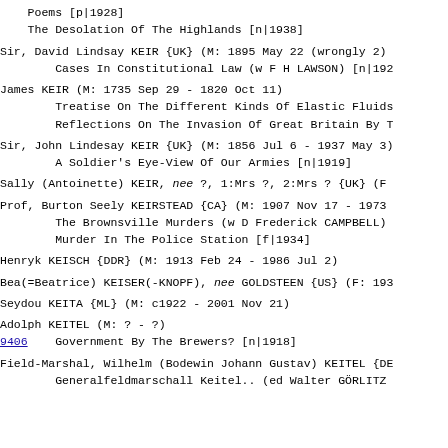Poems [p|1928]
    The Desolation Of The Highlands [n|1938]
Sir, David Lindsay KEIR {UK} (M: 1895 May 22 (wrongly 2)
        Cases In Constitutional Law (w F H LAWSON) [n|192
James KEIR (M: 1735 Sep 29 - 1820 Oct 11)
        Treatise On The Different Kinds Of Elastic Fluids
        Reflections On The Invasion Of Great Britain By T
Sir, John Lindesay KEIR {UK} (M: 1856 Jul 6 - 1937 May 3)
        A Soldier's Eye-View Of Our Armies [n|1919]
Sally (Antoinette) KEIR, nee ?, 1:Mrs ?, 2:Mrs ? {UK} (F
Prof, Burton Seely KEIRSTEAD {CA} (M: 1907 Nov 17 - 1973
        The Brownsville Murders (w D Frederick CAMPBELL)
        Murder In The Police Station [f|1934]
Henryk KEISCH {DDR} (M: 1913 Feb 24 - 1986 Jul 2)
Bea(=Beatrice) KEISER(-KNOPF), nee GOLDSTEEN {US} (F: 193
Seydou KEITA {ML} (M: c1922 - 2001 Nov 21)
Adolph KEITEL (M: ? - ?)
9406    Government By The Brewers? [n|1918]
Field-Marshal, Wilhelm (Bodewin Johann Gustav) KEITEL {DE
        Generalfeldmarschall Keitel.. (ed Walter GORLITZ